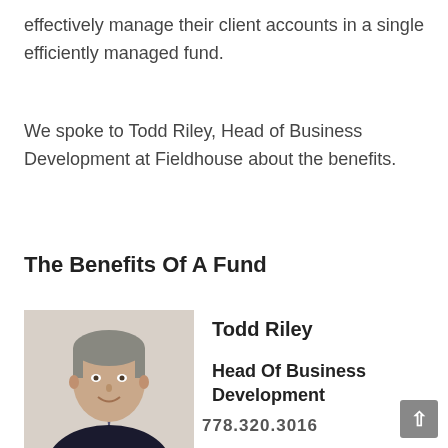effectively manage their client accounts in a single efficiently managed fund.
We spoke to Todd Riley, Head of Business Development at Fieldhouse about the benefits.
The Benefits Of A Fund
[Figure (photo): Headshot photo of Todd Riley, a man in a dark suit with a tie, smiling.]
Todd Riley
Head Of Business Development
778.320.3016